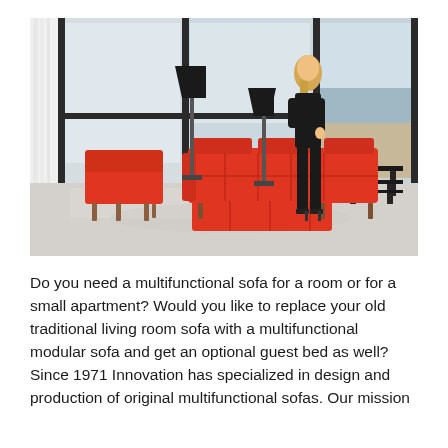[Figure (photo): Interior living room scene with large floor-to-ceiling windows overlooking a beach. A woman in black stands beside orange/red modular sofa furniture and a lounge chair on wooden legs. Two black floor lamps and black side tables are visible.]
Do you need a multifunctional sofa for a room or for a small apartment? Would you like to replace your old traditional living room sofa with a multifunctional modular sofa and get an optional guest bed as well? Since 1971 Innovation has specialized in design and production of original multifunctional sofas. Our mission